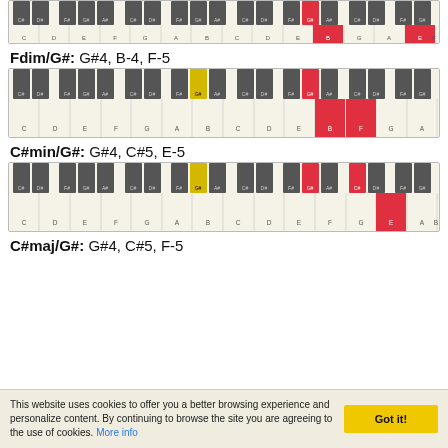[Figure (illustration): Piano keyboard diagram showing highlighted keys for a chord, partially cropped at top of page]
Fdim/G#: G#4, B-4, F-5
[Figure (illustration): Piano keyboard diagram showing Fdim/G# chord with keys G#4 (red), B4 (red), F5 (red) highlighted]
C#min/G#: G#4, C#5, E-5
[Figure (illustration): Piano keyboard diagram showing C#min/G# chord with keys G#4 (red), C#5 (red), E5 (red) highlighted]
C#maj/G#: G#4, C#5, F-5
This website uses cookies to offer you a better browsing experience and personalize content. By continuing to browse the site you are agreeing to the use of cookies. More info